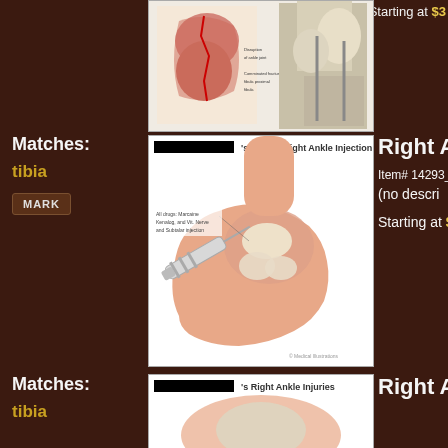Starting at $3
[Figure (illustration): Medical illustration of right ankle injection with syringe being inserted into ankle joint, showing anatomical cross-section of foot and ankle]
Matches: tibia
MARK
Right An
Item# 14293_
(no descri
Starting at $3
Matches: tibia
[Figure (illustration): Partially visible medical illustration of right ankle injuries]